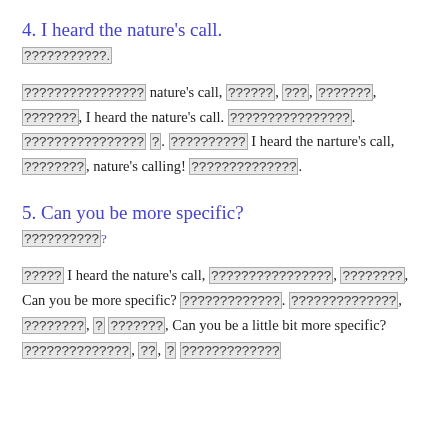4. I heard the nature's call.
[redacted/unknown characters] (translation line)
[mixed text] nature's call, [unknown], [unknown], [unknown], [unknown], I heard the nature's call. [unknown]. [unknown] [unknown]. [unknown] I heard the narture's call, [unknown], nature's calling! [unknown].
5. Can you be more specific?
[unknown characters]?
[unknown] I heard the nature's call, [unknown], [unknown], Can you be more specific? [unknown]. [unknown], [unknown], [unknown] [unknown], Can you be a little bit more specific? [unknown], [unknown], [unknown] [unknown]